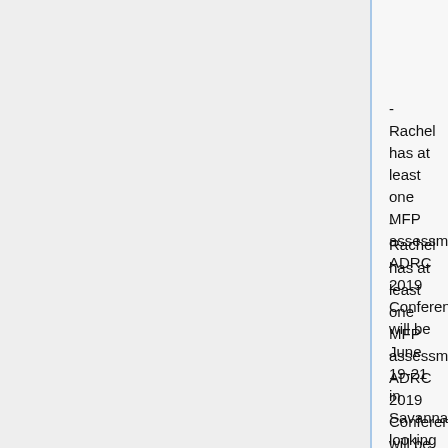has had turn-over/staffing changes, will continue to follow.
- Rachel has at least one MFP assessment ADRC 2019 Conference will be June 19-21 in Savannah- looking for presentations!
1. ) Division of Aging Services (DAS) | $70,000 for AT services and TA to transition people out of nursing homes (MFP): Rolling out through AMAC Membership process!
1. ) Still have several requests for AT Evals. DeeDee and Martha are working together in regards to the AAC Assessments that are being requested- being mindful of time etc
LDA: Conference committee meets each